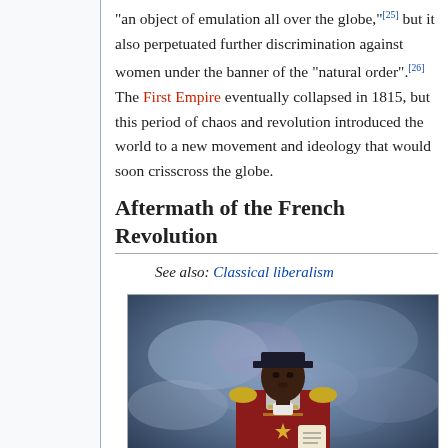"an object of emulation all over the globe,"[25] but it also perpetuated further discrimination against women under the banner of the "natural order".[26] The First Empire eventually collapsed in 1815, but this period of chaos and revolution introduced the world to a new movement and ideology that would soon crisscross the globe.
Aftermath of the French Revolution
See also: Classical liberalism
[Figure (photo): Portrait painting of a Black man in military uniform with red jacket and gold epaulettes, holding a document, against a blue-grey dramatic background. Likely a depiction of Toussaint Louverture or a similar historical figure from the Haitian Revolution era.]